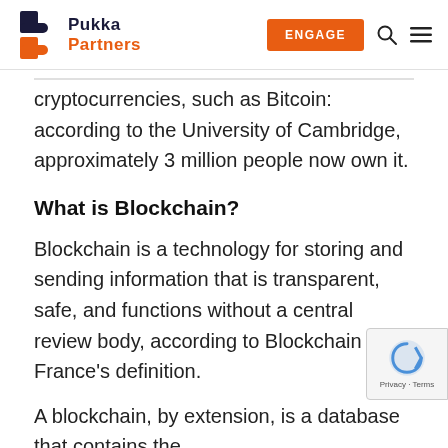Pukka Partners — ENGAGE
cryptocurrencies, such as Bitcoin: according to the University of Cambridge, approximately 3 million people now own it.
What is Blockchain?
Blockchain is a technology for storing and sending information that is transparent, safe, and functions without a central review body, according to Blockchain France's definition.
A blockchain, by extension, is a database that contains the